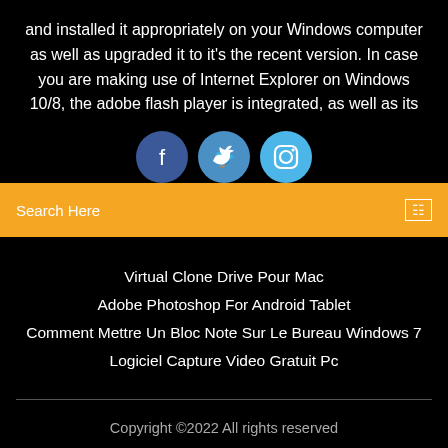and installed it appropriately on your Windows computer as well as upgraded it to it's the recent version. In case you are making use of Internet Explorer on Windows 10/8, the adobe flash player is integrated, as well as its
[Figure (illustration): Three social media icon circles: Facebook (dark blue), Twitter (medium blue), Instagram (light blue)]
Search Here
Virtual Clone Drive Pour Mac
Adobe Photoshop For Android Tablet
Comment Mettre Un Bloc Note Sur Le Bureau Windows 7
Logiciel Capture Video Gratuit Pc
Copyright ©2022 All rights reserved